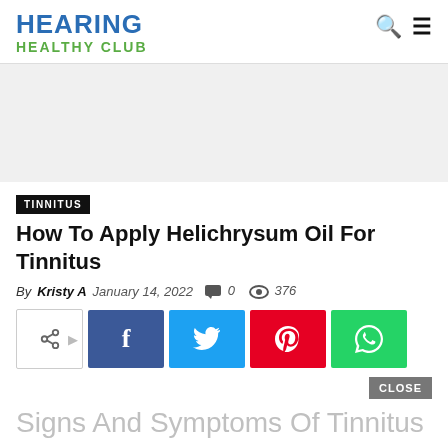HEARING HEALTHY CLUB
[Figure (other): Grey advertisement banner placeholder]
TINNITUS
How To Apply Helichrysum Oil For Tinnitus
By Kristy A  January 14, 2022  0  376
[Figure (other): Social share buttons: share, Facebook, Twitter, Pinterest, WhatsApp]
CLOSE
Signs And Symptoms Of Tinnitus